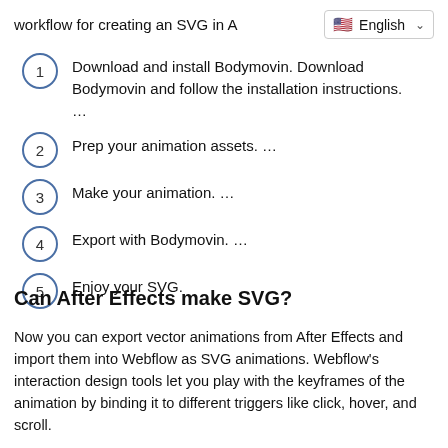workflow for creating an SVG in A…
1. Download and install Bodymovin. Download Bodymovin and follow the installation instructions. …
2. Prep your animation assets. …
3. Make your animation. …
4. Export with Bodymovin. …
5. Enjoy your SVG.
Can After Effects make SVG?
Now you can export vector animations from After Effects and import them into Webflow as SVG animations. Webflow's interaction design tools let you play with the keyframes of the animation by binding it to different triggers like click, hover, and scroll.